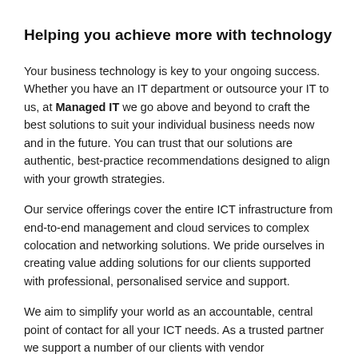Helping you achieve more with technology
Your business technology is key to your ongoing success. Whether you have an IT department or outsource your IT to us, at Managed IT we go above and beyond to craft the best solutions to suit your individual business needs now and in the future. You can trust that our solutions are authentic, best-practice recommendations designed to align with your growth strategies.
Our service offerings cover the entire ICT infrastructure from end-to-end management and cloud services to complex colocation and networking solutions. We pride ourselves in creating value adding solutions for our clients supported with professional, personalised service and support.
We aim to simplify your world as an accountable, central point of contact for all your ICT needs. As a trusted partner we support a number of our clients with vendor management services, ensuring you get what you pay for.